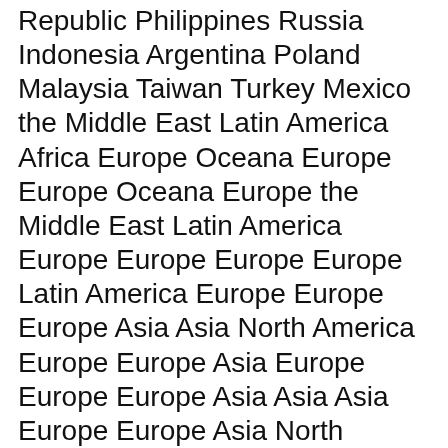Republic Philippines Russia Indonesia Argentina Poland Malaysia Taiwan Turkey Mexico the Middle East Latin America Africa Europe Oceana Europe Europe Oceana Europe the Middle East Latin America Europe Europe Europe Europe Latin America Europe Europe Europe Asia Asia North America Europe Europe Asia Europe Europe Europe Asia Asia Asia Europe Europe Asia North America Europe Asia Europe Asia Latin America Europe Asia Asia the Middle East Latin America
Source: Philip M.